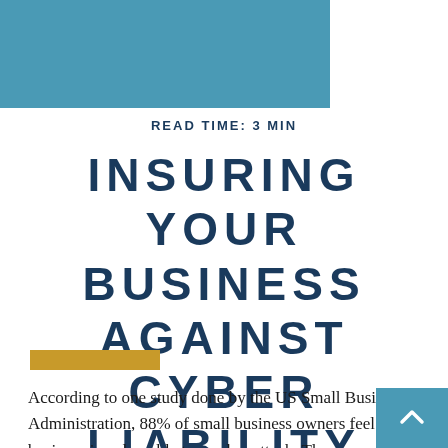READ TIME: 3 MIN
INSURING YOUR BUSINESS AGAINST CYBER LIABILITY
According to one study done by the US Small Business Administration, 88% of small business owners feel their business is vulnerable to a cyber attack. These concerns may be well-founded: according to another